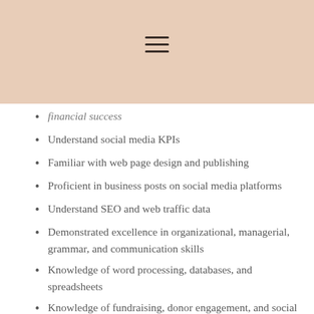[Figure (other): Beige/tan header bar with hamburger menu icon (three horizontal lines) centered]
financial success
Understand social media KPIs
Familiar with web page design and publishing
Proficient in business posts on social media platforms
Understand SEO and web traffic data
Demonstrated excellence in organizational, managerial, grammar, and communication skills
Knowledge of word processing, databases, and spreadsheets
Knowledge of fundraising, donor engagement, and social media strategies
Organized and self-motivated